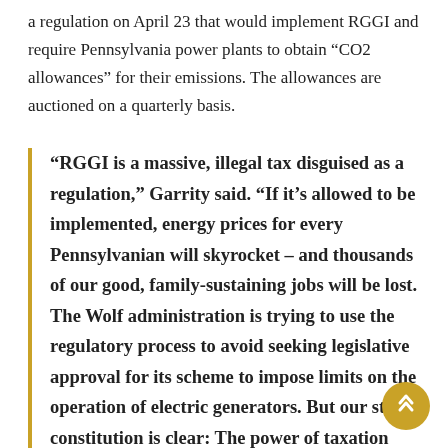a regulation on April 23 that would implement RGGI and require Pennsylvania power plants to obtain "CO2 allowances" for their emissions. The allowances are auctioned on a quarterly basis.
“RGGI is a massive, illegal tax disguised as a regulation,” Garrity said. “If it’s allowed to be implemented, energy prices for every Pennsylvanian will skyrocket – and thousands of our good, family-sustaining jobs will be lost. The Wolf administration is trying to use the regulatory process to avoid seeking legislative approval for its scheme to impose limits on the operation of electric generators. But our state constitution is clear: The power of taxation belongs to the General Assembly, not to the